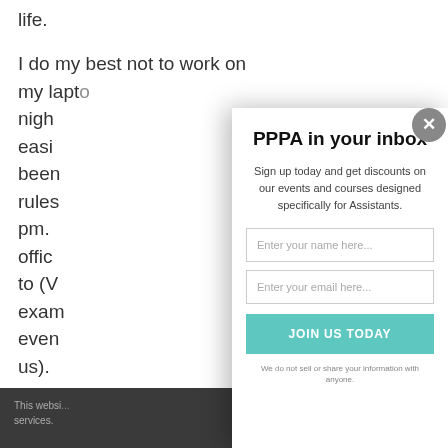life.
I do my best not to work on my lapto... night... easi... been... rules... pm. offic... to (V... exam... even... us).
This websi... services.
PPPA in your inbox
Sign up today and get discounts on our events and courses designed specifically for Assistants.
Enter your name here...
Enter your email here...
JOIN US TODAY
We do not sell or share your information with anyone.